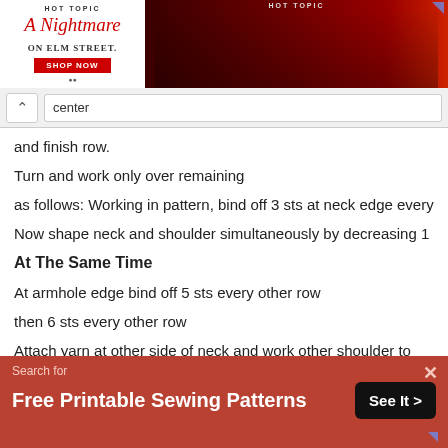[Figure (screenshot): Hot Topic advertisement banner for 'A Nightmare on Elm Street' merchandise with Shop Now button and two people in dark clothing]
center
and finish row.
Turn and work only over remaining
as follows: Working in pattern, bind off 3 sts at neck edge every other row tw
Now shape neck and shoulder simultaneously by decreasing 1 st at neck ed
At The Same Time
At armhole edge bind off 5 sts every other row
then 6 sts every other row
Attach yarn at other side of neck and work other shoulder to correspond.
BACK YOKE … Work exactly as for Front Yoke up to beginning of neck sh
[Figure (screenshot): Bottom advertisement banner: Search for 'Free Printable Sewing Patterns' with See It button on red/brown background]